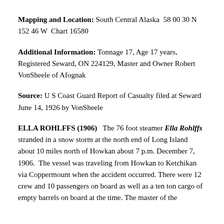Mapping and Location: South Central Alaska  58 00 30 N 152 46 W  Chart 16580
Additional Information: Tonnage 17, Age 17 years, Registered Seward, ON 224129, Master and Owner Robert VonSheele of Afognak
Source: U S Coast Guard Report of Casualty filed at Seward June 14, 1926 by VonSheele
ELLA ROHLFFS (1906)   The 76 foot steamer Ella Rohlffs stranded in a snow storm at the north end of Long Island about 10 miles north of Howkan about 7 p.m. December 7, 1906.  The vessel was traveling from Howkan to Ketchikan via Coppermount when the accident occurred. There were 12 crew and 10 passengers on board as well as a ten ton cargo of empty barrels at the time of the disaster. The master of the